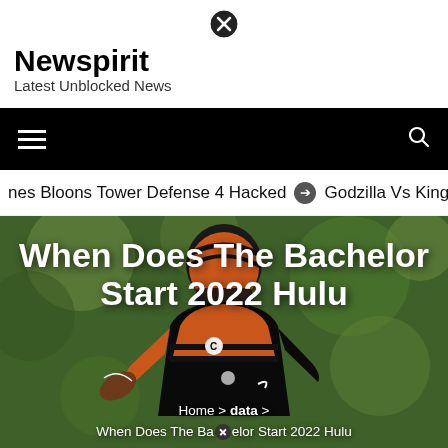Newspirit
Latest Unblocked News
[Figure (screenshot): Black navigation bar with hamburger menu icon on left and search icon on right]
nes Bloons Tower Defense 4 Hacked  ➔  Godzilla Vs King Ko
[Figure (photo): NFL Cincinnati Bengals quarterback throwing a football, wearing orange and black uniform with C captain patch, against a blurred green background]
When Does The Bachelor Start 2022 Hulu
Home > data > When Does The Bachelor Start 2022 Hulu